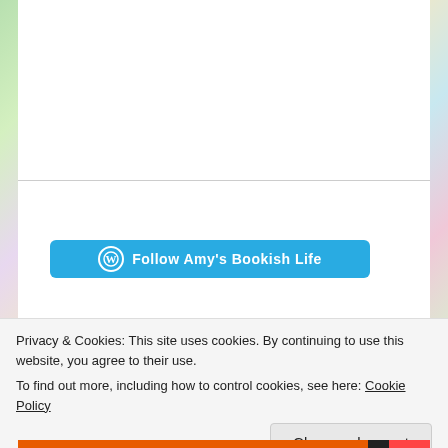[Figure (illustration): WordPress Follow button with teal/cyan background reading 'Follow Amy's Bookish Life' with WordPress circular logo icon on the left]
[Figure (photo): Purple fabric or plush item with text 'Book Blogger' visible, partially cropped at the bottom of the page]
Privacy & Cookies: This site uses cookies. By continuing to use this website, you agree to their use. To find out more, including how to control cookies, see here: Cookie Policy
Close and accept